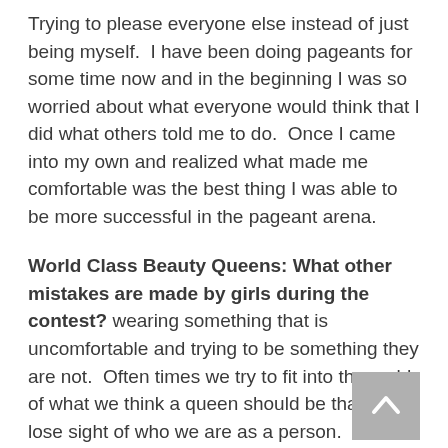Trying to please everyone else instead of just being myself.  I have been doing pageants for some time now and in the beginning I was so worried about what everyone would think that I did what others told me to do.  Once I came into my own and realized what made me comfortable was the best thing I was able to be more successful in the pageant arena.
World Class Beauty Queens: What other mistakes are made by girls during the contest? wearing something that is uncomfortable and trying to be something they are not.  Often times we try to fit into the mold of what we think a queen should be that we lose sight of who we are as a person.  We should be